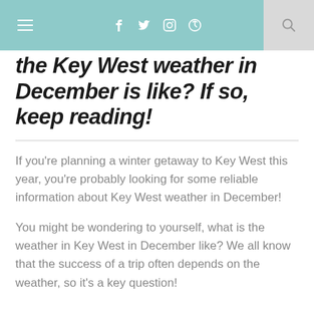≡  f  𝕥  ☷  𝕡  🔍
the Key West weather in December is like? If so, keep reading!
If you're planning a winter getaway to Key West this year, you're probably looking for some reliable information about Key West weather in December!
You might be wondering to yourself, what is the weather in Key West in December like? We all know that the success of a trip often depends on the weather, so it's a key question!